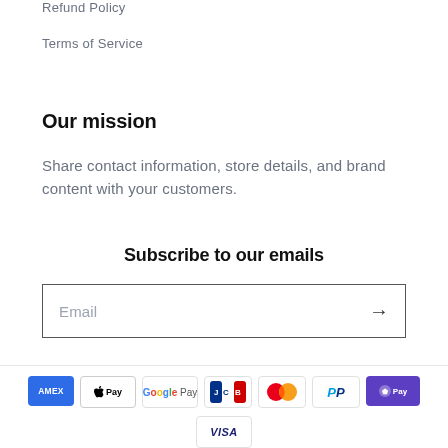Refund Policy
Terms of Service
Our mission
Share contact information, store details, and brand content with your customers.
Subscribe to our emails
Email
[Figure (other): Payment method icons: American Express, Apple Pay, Google Pay, JCB, Mastercard, PayPal, Shop Pay, Visa]